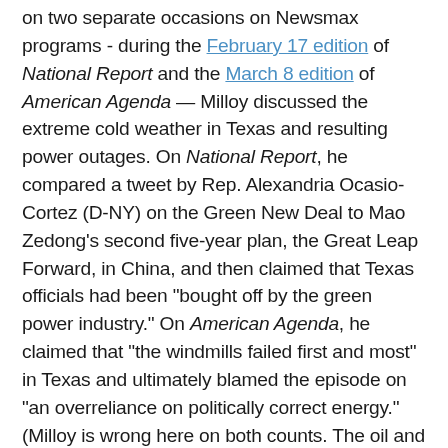on two separate occasions on Newsmax programs - during the February 17 edition of National Report and the March 8 edition of American Agenda — Milloy discussed the extreme cold weather in Texas and resulting power outages. On National Report, he compared a tweet by Rep. Alexandria Ocasio-Cortez (D-NY) on the Green New Deal to Mao Zedong's second five-year plan, the Great Leap Forward, in China, and then claimed that Texas officials had been "bought off by the green power industry." On American Agenda, he claimed that "the windmills failed first and most" in Texas and ultimately blamed the episode on "an overreliance on politically correct energy." (Milloy is wrong here on both counts. The oil and gas industry has given millions of dollars to top Texas Republican officials, while the problem with Texas' power outages were a failure primarily of natural gas. The state's grid operator found that "the majority of outages were